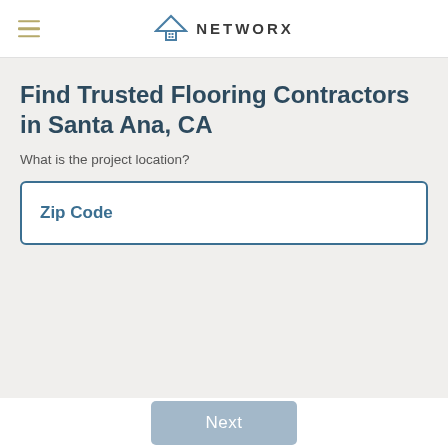NETWORX
Find Trusted Flooring Contractors in Santa Ana, CA
What is the project location?
Zip Code
Next